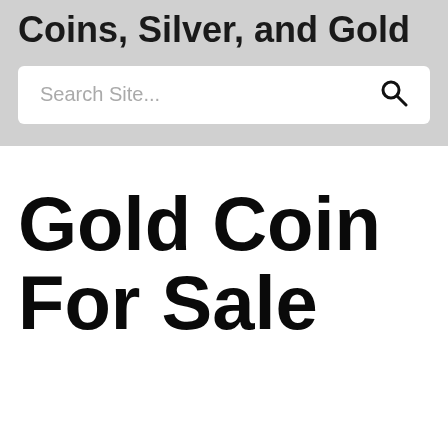Gold Coin Bullion, Coins, Silver, and Gold
Search Site...
Gold Coin For Sale